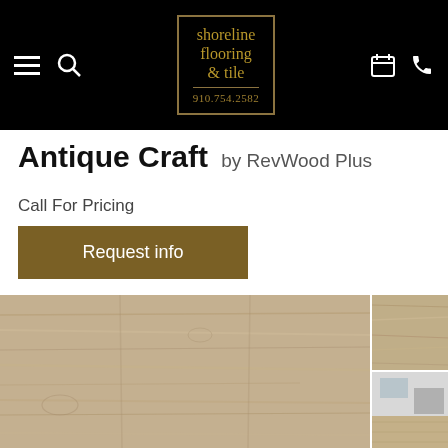[Figure (logo): Shoreline Flooring & Tile logo with phone number 910.754.2582 in gold border box on black header bar with hamburger menu, search, calendar, and phone icons]
Antique Craft by RevWood Plus
Call For Pricing
Request info
[Figure (photo): Close-up photo of light gray/beige wood grain flooring planks (Antique Craft by RevWood Plus) with two thumbnail images on the right side showing the flooring texture and an installed room scene]